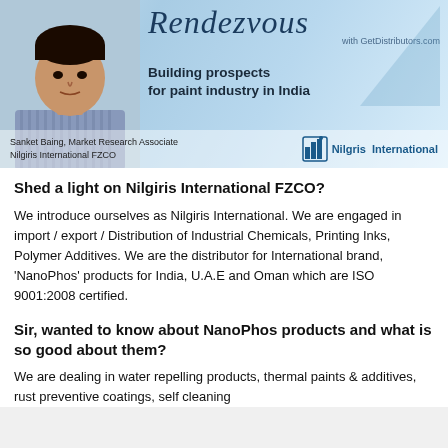[Figure (photo): Banner with photo of Sanket Baing, Market Research Associate at Nilgiris International FZCO, with 'Rendezvous with GetDistributors.com' heading and 'Building prospects for paint industry in India' subtitle. Nilgiris International logo shown.]
Sanket Baing, Market Research Associate
Nilgiris International FZCO
Shed a light on Nilgiris International FZCO?
We introduce ourselves as Nilgiris International. We are engaged in import / export / Distribution of Industrial Chemicals, Printing Inks, Polymer Additives. We are the distributor for International brand, 'NanoPhos' products for India, U.A.E and Oman which are ISO 9001:2008 certified.
Sir, wanted to know about NanoPhos products and what is so good about them?
We are dealing in water repelling products, thermal paints & additives, rust preventive coatings, self cleaning